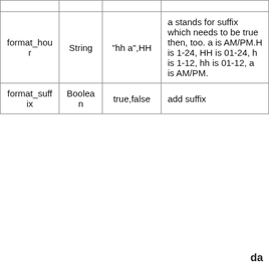|  |  |  |  |
| format_hour | String | "hh a",HH | a stands for suffix which needs to be true then, too. a is AM/PM.H is 1-24, HH is 01-24, h is 1-12, hh is 01-12, a is AM/PM. |
| format_suffix | Boolean | true,false | add suffix |
da